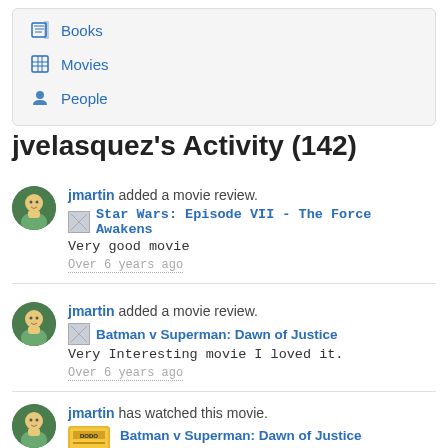Books
Movies
People
jvelasquez's Activity (142)
jmartin added a movie review. Star Wars: Episode VII - The Force Awakens Very good movie Over 6 years ago
jmartin added a movie review. Batman v Superman: Dawn of Justice Very Interesting movie I loved it. Over 6 years ago
jmartin has watched this movie. Batman v Superman: Dawn of Justice Over 6 years ago